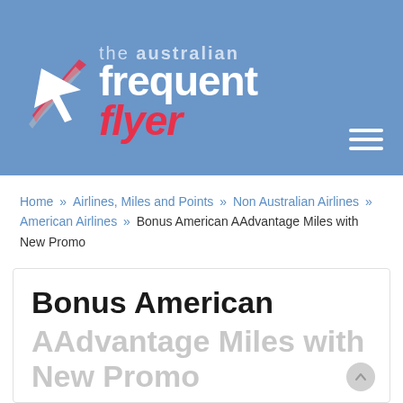[Figure (logo): The Australian Frequent Flyer logo with red arrow graphic and white/red text on a blue background]
Home » Airlines, Miles and Points » Non Australian Airlines » American Airlines » Bonus American AAdvantage Miles with New Promo
Bonus American AAdvantage Miles with New Promo